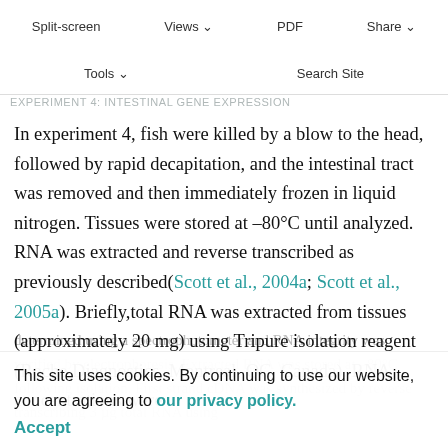gross intestinal surface area of about 10 cm²
Split-screen  Views  PDF  Share
EXPERIMENT 4: INTESTINAL GENE EXPRESSION
Tools  Search Site
In experiment 4, fish were killed by a blow to the head, followed by rapid decapitation, and the intestinal tract was removed and then immediately frozen in liquid nitrogen. Tissues were stored at –80°C until analyzed. RNA was extracted and reverse transcribed as previously described(Scott et al., 2004a; Scott et al., 2005a). Briefly,total RNA was extracted from tissues (approximately 20 mg) using Tripure isolation reagent (Roche Diagnostics, Montreal, QC, Canada). RNA concentrations were
determined using a spectrophotometer and RNA integrity was verified by electrophoresis. Extracted RNA was stored at –80°C following isolation. First strand cDNA was synthesized by reverse transcribing 3 µg total RNA using
This site uses cookies. By continuing to use our website, you are agreeing to our privacy policy.
Accept